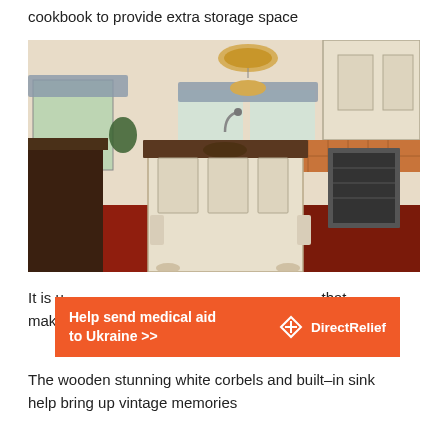cookbook to provide extra storage space
[Figure (photo): Large luxury kitchen with white cabinetry, dark granite countertops, a central island with built-in sink, crystal chandelier, decorative corbels, red hardwood floors, and orange tile backsplash.]
It is u[obscured by ad]that make[obscured by ad]all. The wooden stunning white corbels and built–in sink help bring up vintage memories